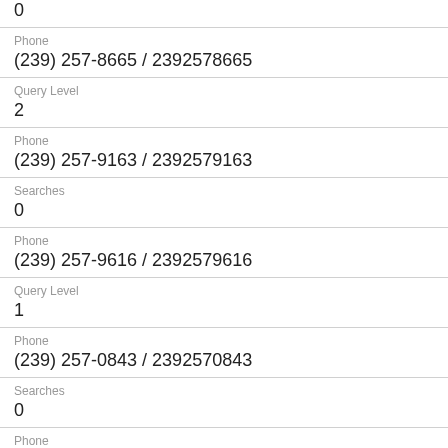0
Phone
(239) 257-8665 / 2392578665
Query Level
2
Phone
(239) 257-9163 / 2392579163
Searches
0
Phone
(239) 257-9616 / 2392579616
Query Level
1
Phone
(239) 257-0843 / 2392570843
Searches
0
Phone
(239) 257-8787 / 2392578787